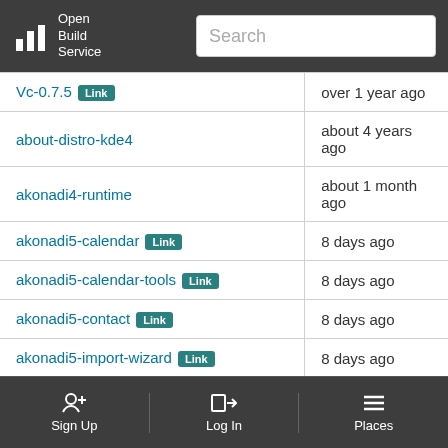Open Build Service | Search
| Package | Last Updated |
| --- | --- |
| Vc-0.7.5 [Link] | over 1 year ago |
| about-distro-kde4 | about 4 years ago |
| akonadi4-runtime | about 1 month ago |
| akonadi5-calendar [Link] | 8 days ago |
| akonadi5-calendar-tools [Link] | 8 days ago |
| akonadi5-contact [Link] | 8 days ago |
| akonadi5-import-wizard [Link] | 8 days ago |
Sign Up | Log In | Places